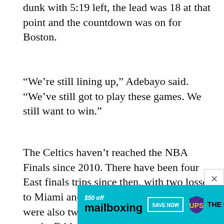dunk with 5:19 left, the lead was 18 at that point and the countdown was on for Boston.
“We’re still lining up,” Adebayo said. “We’ve still got to play these games. We still want to win.”
The Celtics haven’t reached the NBA Finals since 2010. There have been four East finals trips since then, with two losses to Miami and two to Cleveland. There were also two chances like the one that awaits Friday — Game 6 in 2012 against the Heat and Game 7 in 2018 against the Cavaliers — when the Celtics had a chance to claim the conference title simply by winning a game on their home floor.
[Figure (other): Advertisement banner for mailboxing with $50 off offer, SAVE NOW button, UPS logo and THE UPS STORE text on teal background]